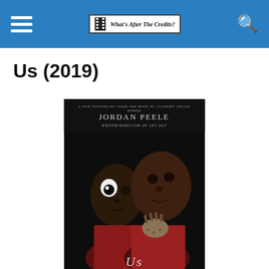What's After The Credits?
Us (2019)
[Figure (photo): Movie poster for Us (2019) by Jordan Peele. Shows two figures — a child and a woman — against a dark background. Text at top reads: A NEW NIGHTMARE FROM THE MIND OF ACADEMY AWARD WINNER JORDAN PEELE WRITER/DIRECTOR OF GET OUT. The figures are wearing red clothing and there is a golden glove visible.]